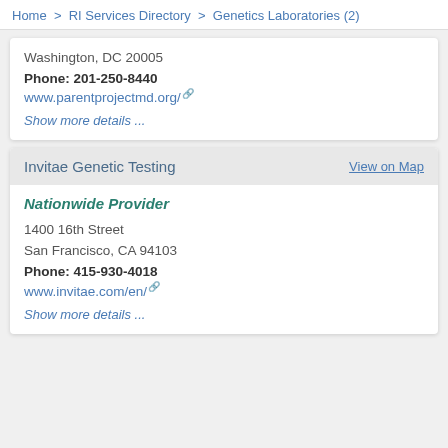Home > RI Services Directory > Genetics Laboratories (2)
Washington, DC 20005
Phone: 201-250-8440
www.parentprojectmd.org/
Show more details ...
Invitae Genetic Testing
View on Map
Nationwide Provider
1400 16th Street
San Francisco, CA 94103
Phone: 415-930-4018
www.invitae.com/en/
Show more details ...